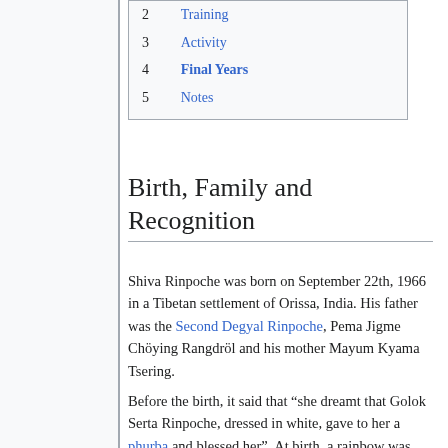2 Training
3 Activity
4 Final Years
5 Notes
Birth, Family and Recognition
Shiva Rinpoche was born on September 22th, 1966 in a Tibetan settlement of Orissa, India. His father was the Second Degyal Rinpoche, Pema Jigme Chöying Rangdröl and his mother Mayum Kyama Tsering.
Before the birth, it said that “she dreamt that Golok Serta Rinpoche, dressed in white, gave to her a phurba and blessed her”. At birth, a rainbow was seen in the cloudless sky.
When he was three years old, and